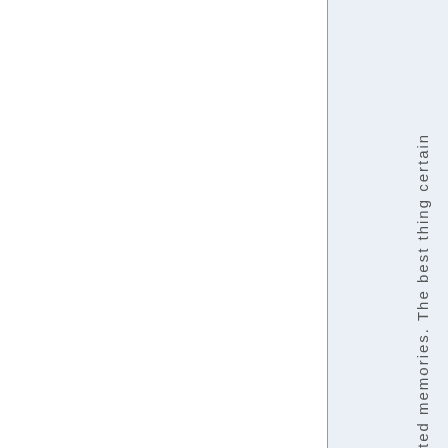ted memories. The best thing certain